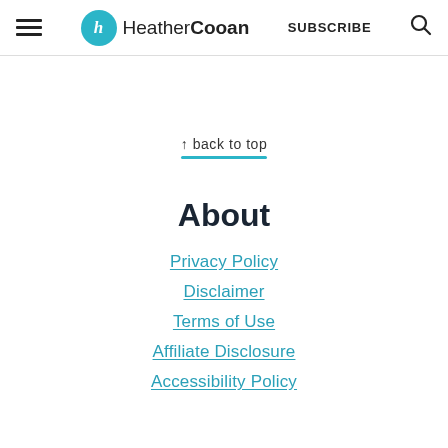HeatherCooan | SUBSCRIBE
↑ back to top
About
Privacy Policy
Disclaimer
Terms of Use
Affiliate Disclosure
Accessibility Policy